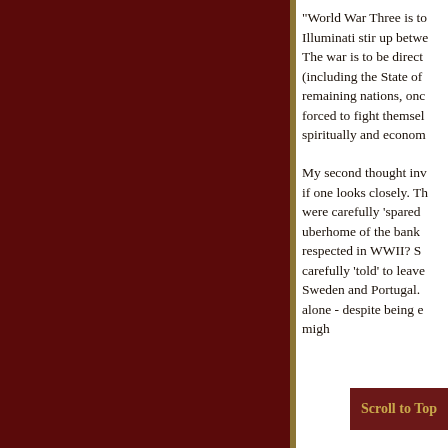"World War Three is to be stirred up by the Illuminati stir up between... The war is to be directed... (including the State of... remaining nations, once forced to fight themselves spiritually and econom...
My second thought inv... if one looks closely. Th... were carefully 'spared'... uberhome of the bank... respected in WWII? S... carefully 'told' to leave... Sweden and Portugal.... alone - despite being e... migh...
Scroll to Top